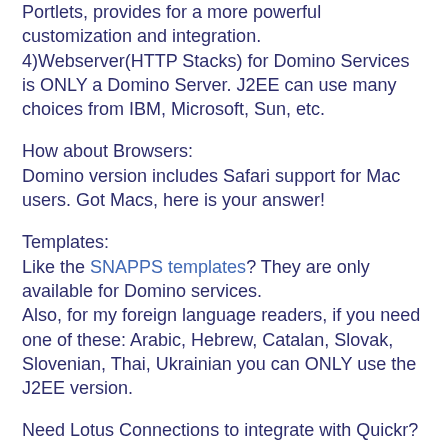Portlets, provides for a more powerful customization and integration.
4)Webserver(HTTP Stacks) for Domino Services is ONLY a Domino Server. J2EE can use many choices from IBM, Microsoft, Sun, etc.
How about Browsers:
Domino version includes Safari support for Mac users. Got Macs, here is your answer!
Templates:
Like the SNAPPS templates? They are only available for Domino services.
Also, for my foreign language readers, if you need one of these: Arabic, Hebrew, Catalan, Slovak, Slovenian, Thai, Ukrainian you can ONLY use the J2EE version.
Need Lotus Connections to integrate with Quickr? You are better off with the J2EE version for now.
My #1 reason why someone should use Quickr for Domino? Extranot(Outside people)usage. Need to work with clients.